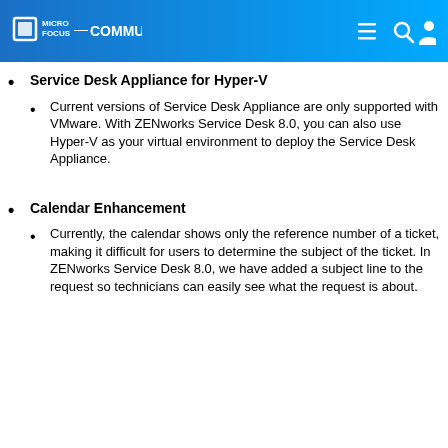MICRO FOCUS COMMUNITY
Service Desk Appliance for Hyper-V
Current versions of Service Desk Appliance are only supported with VMware. With ZENworks Service Desk 8.0, you can also use Hyper-V as your virtual environment to deploy the Service Desk Appliance.
Calendar Enhancement
Currently, the calendar shows only the reference number of a ticket, making it difficult for users to determine the subject of the ticket. In ZENworks Service Desk 8.0, we have added a subject line to the request so technicians can easily see what the request is about.